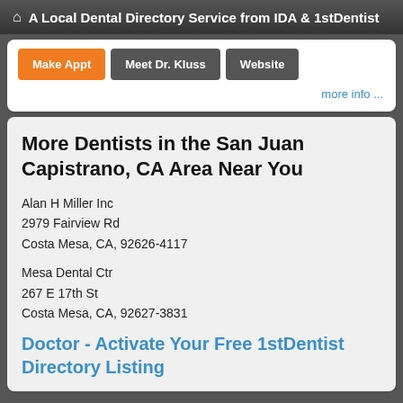A Local Dental Directory Service from IDA & 1stDentist
Make Appt | Meet Dr. Kluss | Website
more info ...
More Dentists in the San Juan Capistrano, CA Area Near You
Alan H Miller Inc
2979 Fairview Rd
Costa Mesa, CA, 92626-4117
Mesa Dental Ctr
267 E 17th St
Costa Mesa, CA, 92627-3831
Doctor - Activate Your Free 1stDentist Directory Listing